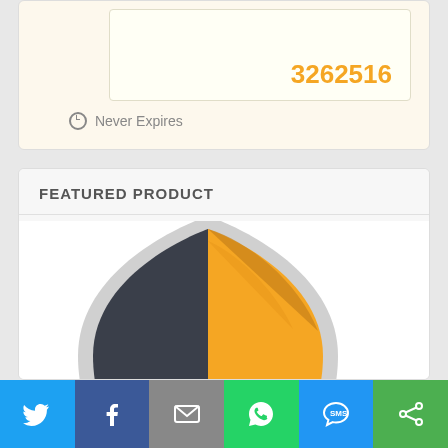3262516
Never Expires
FEATURED PRODUCT
[Figure (illustration): A shield graphic split into dark gray and orange/yellow quadrants with text 'HOW TO PROTECT YOUR PHONE' and a green checkmark shield in the center]
[Figure (infographic): Social sharing bar with icons for Twitter, Facebook, Email, WhatsApp, SMS, and Share]